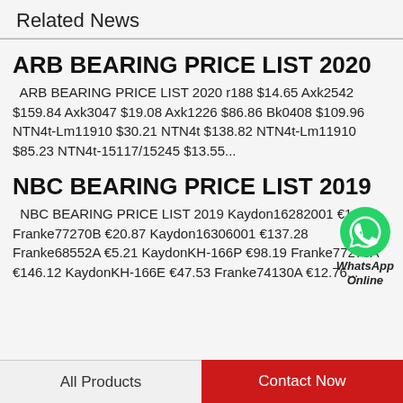Related News
ARB BEARING PRICE LIST 2020
ARB BEARING PRICE LIST 2020 r188 $14.65 Axk2542 $159.84 Axk3047 $19.08 Axk1226 $86.86 Bk0408 $109.96 NTN4t-Lm11910 $30.21 NTN4t $138.82 NTN4t-Lm11910 $85.23 NTN4t-15117/15245 $13.55...
[Figure (logo): WhatsApp Online green logo with label WhatsApp Online]
NBC BEARING PRICE LIST 2019
NBC BEARING PRICE LIST 2019 Kaydon16282001 €18.44 Franke77270B €20.87 Kaydon16306001 €137.28 Franke68552A €5.21 KaydonKH-166P €98.19 Franke77270A €146.12 KaydonKH-166E €47.53 Franke74130A €12.76...
All Products | Contact Now